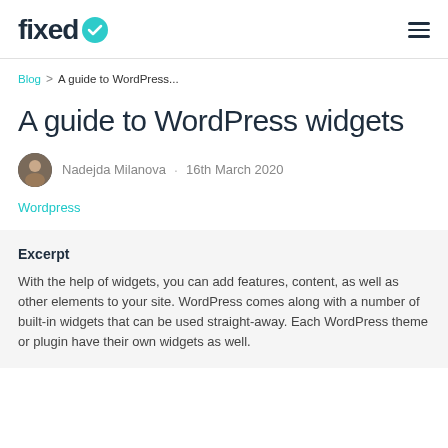fixed
Blog > A guide to WordPress...
A guide to WordPress widgets
Nadejda Milanova · 16th March 2020
Wordpress
Excerpt
With the help of widgets, you can add features, content, as well as other elements to your site. WordPress comes along with a number of built-in widgets that can be used straight-away. Each WordPress theme or plugin have their own widgets as well.